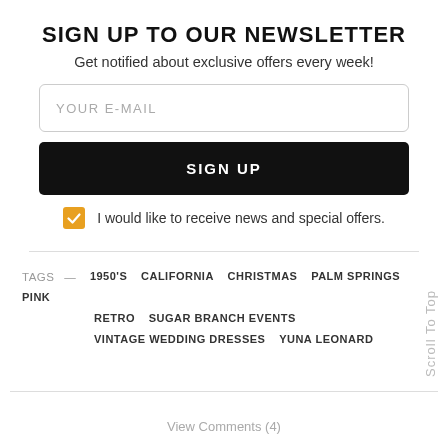SIGN UP TO OUR NEWSLETTER
Get notified about exclusive offers every week!
YOUR E-MAIL
SIGN UP
I would like to receive news and special offers.
TAGS — 1950'S CALIFORNIA CHRISTMAS PALM SPRINGS PINK RETRO SUGAR BRANCH EVENTS VINTAGE WEDDING DRESSES YUNA LEONARD
Scroll To Top
View Comments (4)